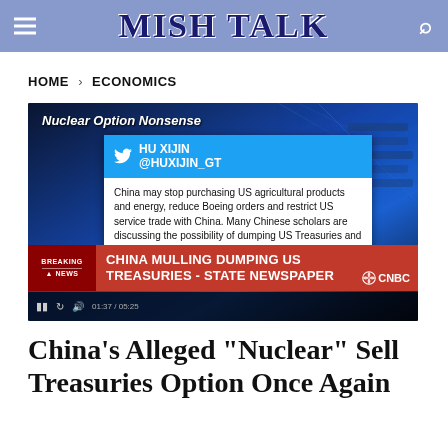MISH TALK
HOME › ECONOMICS
[Figure (screenshot): CNBC video screenshot showing a tweet by HU XIJIN @HUXIJIN_GT: 'China may stop purchasing US agricultural products and energy, reduce Boeing orders and restrict US service trade with China. Many Chinese scholars are discussing the possibility of dumping US Treasuries and how to do it specifically.' TWEETED ON: 8:11 AM - 13 May 2019. Breaking news ticker: CHINA MULLING DUMPING US TREASURIES - STATE NEWSPAPER. Video labeled 'Nuclear Option Nonsense'.]
China's Alleged "Nuclear" Sell Treasuries Option Once Again